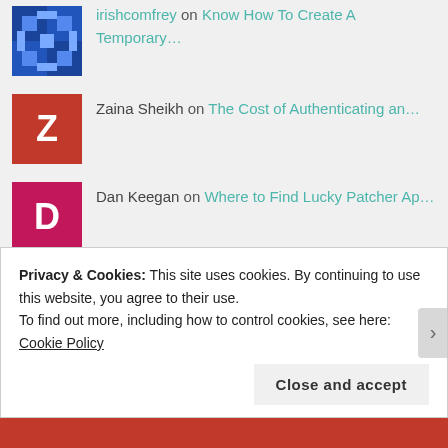irishcomfrey on Know How To Create A Temporary...
Zaina Sheikh on The Cost of Authenticating an...
Dan Keegan on Where to Find Lucky Patcher Ap...
Marriage Propose Bew... on The Battle Over Key West Roofi...
Shoe Argue Precautio... on The Battle Over Key West Roofi...
Nobody Enable Sotted... on The Battle Over Key West Roofi...
Mission Adjust Uncha... on The Battle Over Key West Roofi...
Privacy & Cookies: This site uses cookies. By continuing to use this website, you agree to their use.
To find out more, including how to control cookies, see here: Cookie Policy
Close and accept